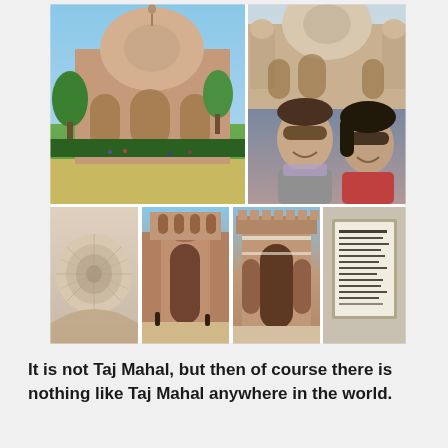[Figure (photo): Photo collage of Humayun's Tomb in Delhi, India. Top-left: wide exterior shot of Humayun's Tomb with dome, arches, gardens and green lawns. Top-right: top portion shows monument exterior with visitors; bottom portion shows a selfie of a smiling couple (man in grey, woman in red) wearing sunglasses. Bottom row left-to-right: interior dome ceiling detail with geometric patterns; gate entrance archway of red sandstone monument; another gate archway exterior shot; a signage/plaque board.]
It is not Taj Mahal, but then of course there is nothing like Taj Mahal anywhere in the world.